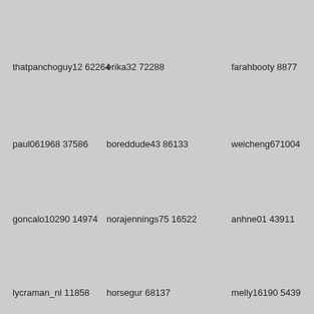thatpanchoguy12 62264
erika32 72288
farahbooty 8877
paul061968 37586
boreddude43 86133
weicheng671004
goncalo10290 14974
norajennings75 16522
anhne01 43911
lycraman_nl 11858
horsegur 68137
melly16190 5439